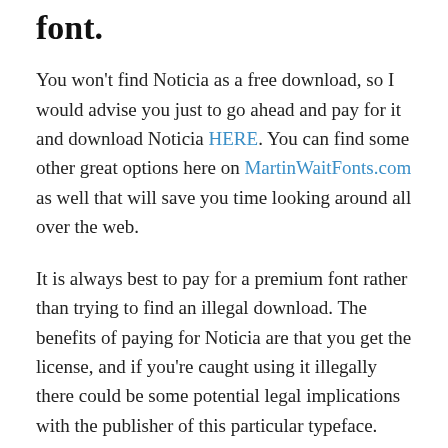font.
You won't find Noticia as a free download, so I would advise you just to go ahead and pay for it and download Noticia HERE. You can find some other great options here on MartinWaitFonts.com as well that will save you time looking around all over the web.
It is always best to pay for a premium font rather than trying to find an illegal download. The benefits of paying for Noticia are that you get the license, and if you're caught using it illegally there could be some potential legal implications with the publisher of this particular typeface.
Furthermore, when searching "free downloads" on